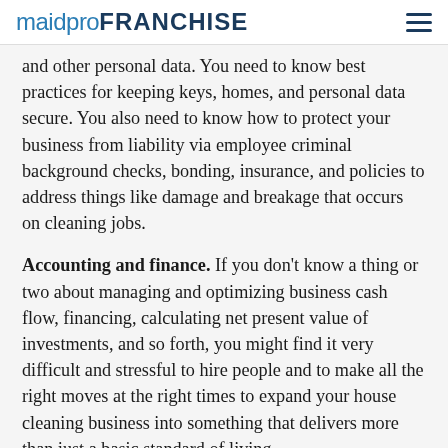maidproFRANCHISE
and other personal data. You need to know best practices for keeping keys, homes, and personal data secure. You also need to know how to protect your business from liability via employee criminal background checks, bonding, insurance, and policies to address things like damage and breakage that occurs on cleaning jobs.
Accounting and finance. If you don't know a thing or two about managing and optimizing business cash flow, financing, calculating net present value of investments, and so forth, you might find it very difficult and stressful to hire people and to make all the right moves at the right times to expand your house cleaning business into something that delivers more than just a basic standard of living.
Cleaning operations know-how. Do you know how